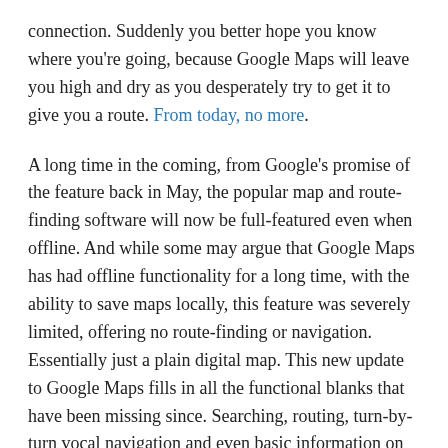connection. Suddenly you better hope you know where you're going, because Google Maps will leave you high and dry as you desperately try to get it to give you a route. From today, no more.
A long time in the coming, from Google's promise of the feature back in May, the popular map and route-finding software will now be full-featured even when offline. And while some may argue that Google Maps has had offline functionality for a long time, with the ability to save maps locally, this feature was severely limited, offering no route-finding or navigation. Essentially just a plain digital map. This new update to Google Maps fills in all the functional blanks that have been missing since. Searching, routing, turn-by-turn vocal navigation and even basic information on businesses will now be available on saved maps while offline.
In order to make use of these new features, you must first download the map data to your device. Maps allows you to download maps on three scales, country, county or city, on the...